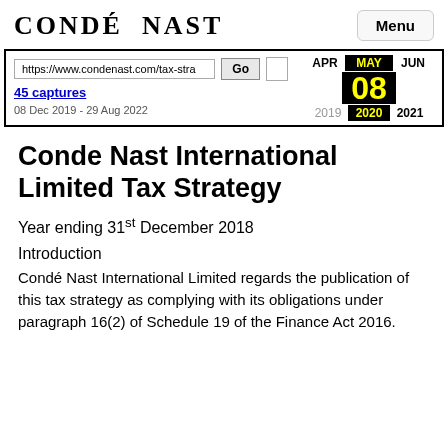CONDÉ NAST
[Figure (screenshot): Wayback Machine browser bar showing URL https://www.condenast.com/tax-stra with Go button, 45 captures 08 Dec 2019 - 29 Aug 2022, and date display APR / MAY 08 2020 / JUN 2021]
Conde Nast International Limited Tax Strategy
Year ending 31st December 2018
Introduction
Condé Nast International Limited regards the publication of this tax strategy as complying with its obligations under paragraph 16(2) of Schedule 19 of the Finance Act 2016.